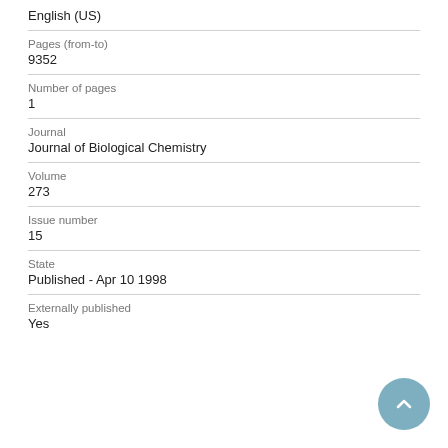English (US)
Pages (from-to)
9352
Number of pages
1
Journal
Journal of Biological Chemistry
Volume
273
Issue number
15
State
Published - Apr 10 1998
Externally published
Yes